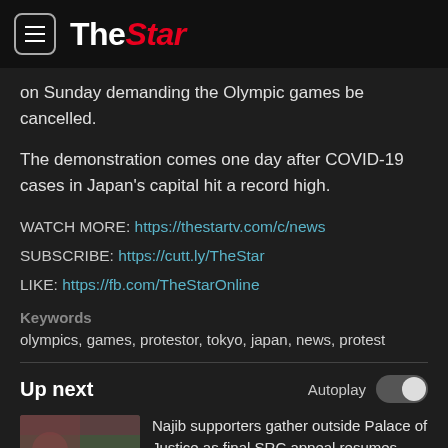The Star
on Sunday demanding the Olympic games be cancelled.
The demonstration comes one day after COVID-19 cases in Japan's capital hit a record high.
WATCH MORE: https://thestartv.com/c/news
SUBSCRIBE: https://cutt.ly/TheStar
LIKE: https://fb.com/TheStarOnline
Keywords
olympics, games, protestor, tokyo, japan, news, protest
Up next
Autoplay
Najib supporters gather outside Palace of Justice as final SRC appeal resumes